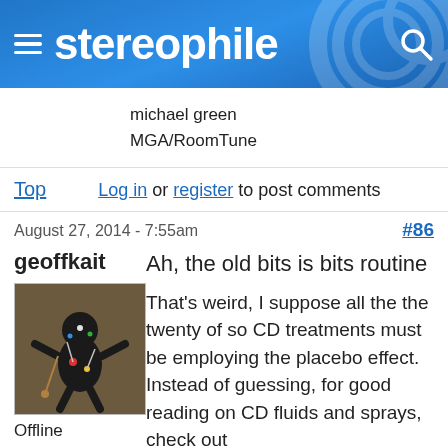stereophile
michael green
MGA/RoomTune
Top   Log in or register to post comments
August 27, 2014 - 7:55am   #86
geoffkait
[Figure (photo): Avatar image of a voodoo doll figure made of dark material with decorative elements]
Offline
Last seen: 3
Ah, the old bits is bits routine
That's weird, I suppose all the the twenty of so CD treatments must be employing the placebo effect. Instead of guessing, for good reading on CD fluids and sprays, check out